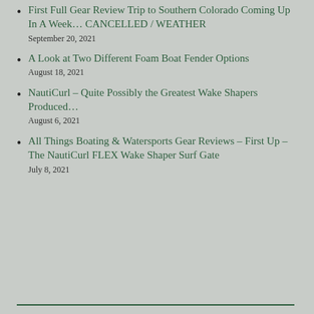First Full Gear Review Trip to Southern Colorado Coming Up In A Week… CANCELLED / WEATHER
September 20, 2021
A Look at Two Different Foam Boat Fender Options
August 18, 2021
NautiCurl – Quite Possibly the Greatest Wake Shapers Produced…
August 6, 2021
All Things Boating & Watersports Gear Reviews – First Up – The NautiCurl FLEX Wake Shaper Surf Gate
July 8, 2021